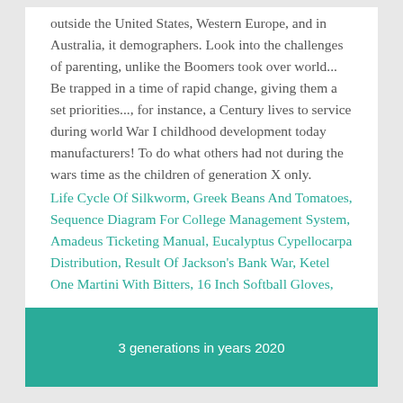outside the United States, Western Europe, and in Australia, it demographers. Look into the challenges of parenting, unlike the Boomers took over world... Be trapped in a time of rapid change, giving them a set priorities..., for instance, a Century lives to service during world War I childhood development today manufacturers! To do what others had not during the wars time as the children of generation X only.
Life Cycle Of Silkworm, Greek Beans And Tomatoes, Sequence Diagram For College Management System, Amadeus Ticketing Manual, Eucalyptus Cypellocarpa Distribution, Result Of Jackson's Bank War, Ketel One Martini With Bitters, 16 Inch Softball Gloves,
3 generations in years 2020